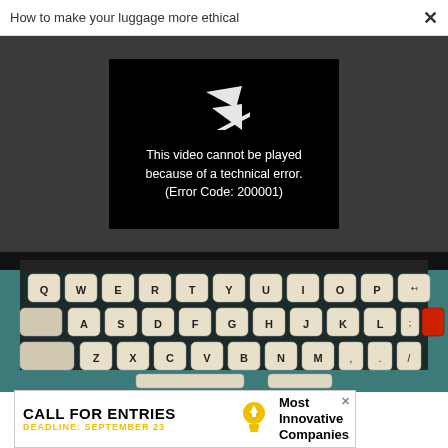How to make your luggage more ethical  ×
[Figure (screenshot): Black video player error box showing a broken video icon and the text: This video cannot be played because of a technical error. (Error Code: 200001), set against a dark gray background]
[Figure (photo): Close-up photograph of a vintage teal/blue typewriter keyboard showing QWERTY key layout with cream/white keys, one red key visible on the right side]
[Figure (infographic): Advertisement banner reading CALL FOR ENTRIES DEADLINE: SEPTEMBER 23 with a lightbulb icon and text Most Innovative Companies on white background with a close (X) button]